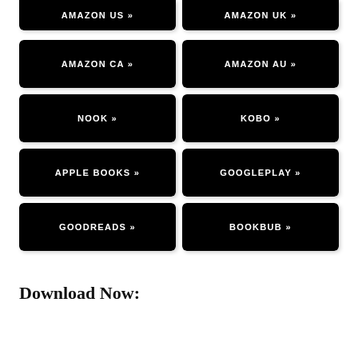[Figure (other): Black button labeled AMAZON US »]
[Figure (other): Black button labeled AMAZON UK »]
[Figure (other): Black button labeled AMAZON CA »]
[Figure (other): Black button labeled AMAZON AU »]
[Figure (other): Black button labeled NOOK »]
[Figure (other): Black button labeled KOBO »]
[Figure (other): Black button labeled APPLE BOOKS »]
[Figure (other): Black button labeled GOOGLEPLAY »]
[Figure (other): Black button labeled GOODREADS »]
[Figure (other): Black button labeled BOOKBUB »]
Download Now: